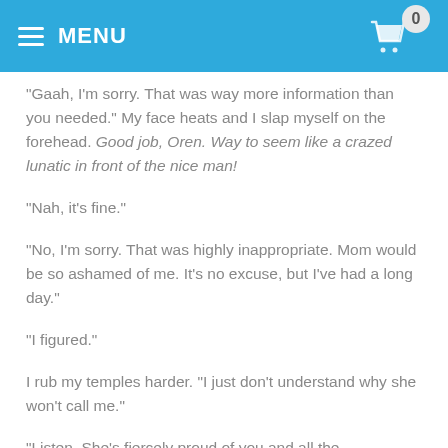MENU
"Gaah, I'm sorry. That was way more information than you needed." My face heats and I slap myself on the forehead. Good job, Oren. Way to seem like a crazed lunatic in front of the nice man!
"Nah, it's fine."
"No, I'm sorry. That was highly inappropriate. Mom would be so ashamed of me. It's no excuse, but I've had a long day."
"I figured."
I rub my temples harder. "I just don't understand why she won't call me."
"Listen. She's fiercely proud of you and all the